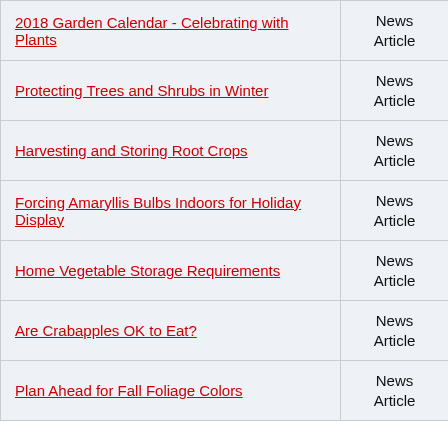|  |  |
| --- | --- |
| 2018 Garden Calendar - Celebrating with Plants | News Article |
| Protecting Trees and Shrubs in Winter | News Article |
| Harvesting and Storing Root Crops | News Article |
| Forcing Amaryllis Bulbs Indoors for Holiday Display | News Article |
| Home Vegetable Storage Requirements | News Article |
| Are Crabapples OK to Eat? | News Article |
| Plan Ahead for Fall Foliage Colors | News Article |